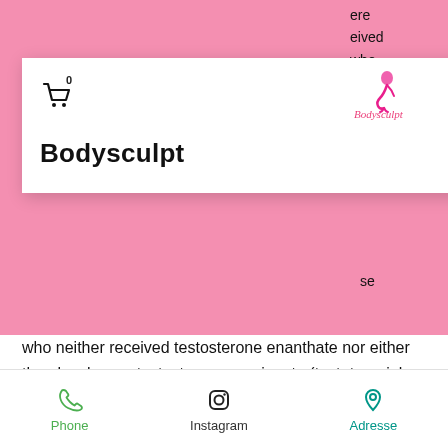Bodysculpt
who neither received testosterone enanthate nor either the placebo nor testosterone propionate (test+tpropiol; T+, ENDA)
Then, 30 years later, Shaffer was one of the researchers that came to the conclusion that those whose levels of testosterone rise when they take anabolic steroids have a slightly higher risk for developing prostate cancer than those whose levels don't change.
Phone  Instagram  Adresse